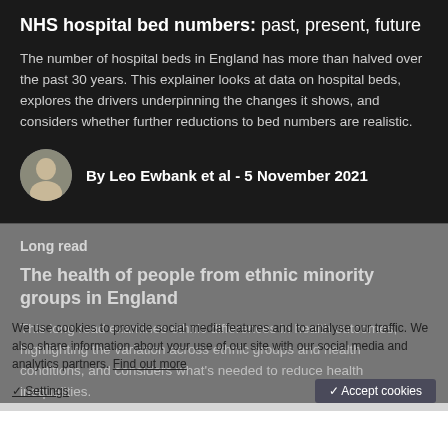NHS hospital bed numbers: past, present, future
The number of hospital beds in England has more than halved over the past 30 years. This explainer looks at data on hospital beds, explores the drivers underpinning the changes it shows, and considers whether further reductions to bed numbers are realistic.
By Leo Ewbank et al - 5 November 2021
Long read
The health of people from ethnic minority groups in England
This long read examines ethnic differences in health outcomes, highlighting the variation across ethnic groups and health conditions, and considers what's needed to reduce health inequalities.
We use cookies to provide social media features and to analyse our traffic. We also share information about your use of our site with our social media and analytics partners. Find out more